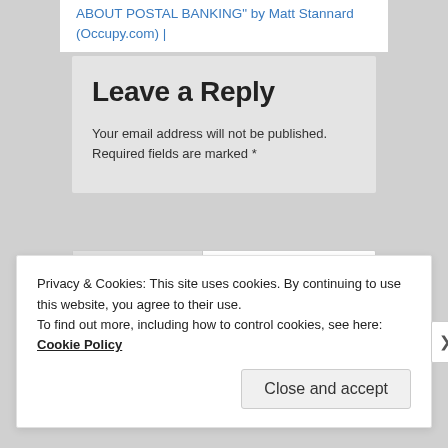ABOUT POSTAL BANKING" by Matt Stannard (Occupy.com) |
Leave a Reply
Your email address will not be published. Required fields are marked *
Comment *
Privacy & Cookies: This site uses cookies. By continuing to use this website, you agree to their use.
To find out more, including how to control cookies, see here: Cookie Policy
Close and accept